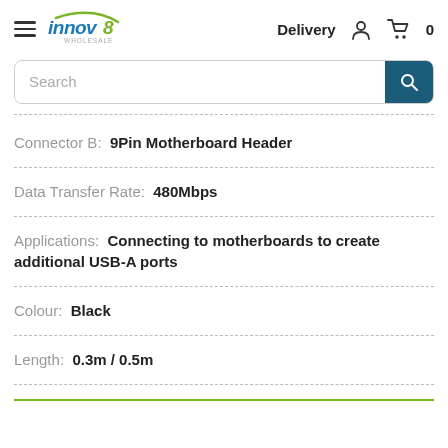Innov8 Wholesale — Delivery, Account, Cart (0)
Search
Connector B: 9Pin Motherboard Header
Data Transfer Rate: 480Mbps
Applications: Connecting to motherboards to create additional USB-A ports
Colour: Black
Length: 0.3m / 0.5m